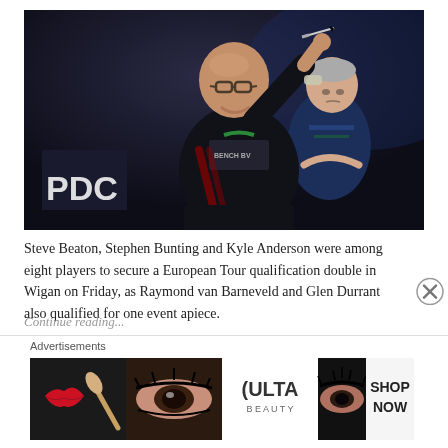[Figure (photo): Two darts players on stage. The foreground player, a heavyset bald man wearing a black jersey with 'BENCH BV' branding, is mid-throw releasing a dart. In the background another player in a dark blue jersey stands with arms crossed. A PDC logo is visible on the left side of the dark stage background.]
Steve Beaton, Stephen Bunting and Kyle Anderson were among eight players to secure a European Tour qualification double in Wigan on Friday, as Raymond van Barneveld and Glen Durrant also qualified for one event apiece.
Advertisements
[Figure (photo): Ulta Beauty advertisement banner showing makeup product images, eyes with makeup, ULTA logo, and 'SHOP NOW' text.]